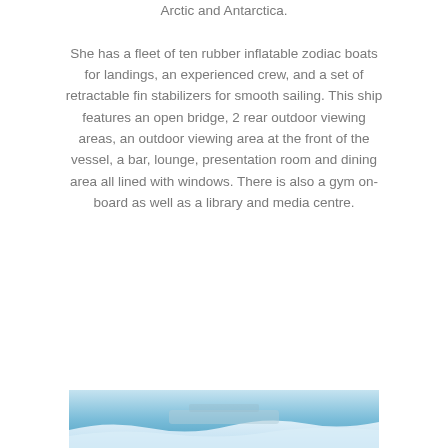Arctic and Antarctica. She has a fleet of ten rubber inflatable zodiac boats for landings, an experienced crew, and a set of retractable fin stabilizers for smooth sailing. This ship features an open bridge, 2 rear outdoor viewing areas, an outdoor viewing area at the front of the vessel, a bar, lounge, presentation room and dining area all lined with windows. There is also a gym on-board as well as a library and media centre.
[Figure (photo): Partial view of a ship or vessel in icy polar waters with blue sky and ice/snow visible at the bottom of the page]